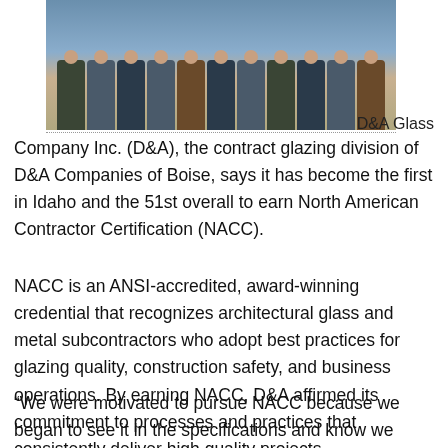[Figure (photo): Group photo of D&A Glass Company employees standing outside a building]
D&A Glass
Company Inc. (D&A), the contract glazing division of D&A Companies of Boise, says it has become the first in Idaho and the 51st overall to earn North American Contractor Certification (NACC).
NACC is an ANSI-accredited, award-winning credential that recognizes architectural glass and metal subcontractors who adopt best practices for glazing quality, construction safety, and business operations. By earning NACC, D&A affirmed its commitment to processes and practices that consistently deliver high quality projects.
“We were motivated to pursue NACC because we began to see it in the specifications and know we needed it to win